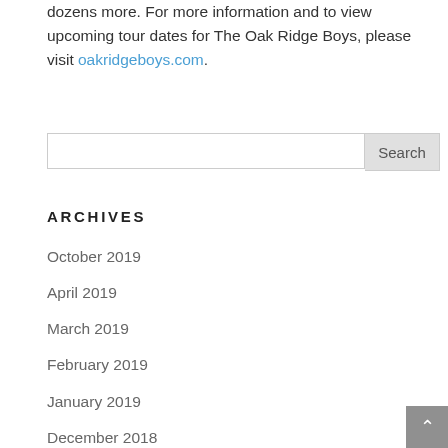dozens more. For more information and to view upcoming tour dates for The Oak Ridge Boys, please visit oakridgeboys.com.
October 2019
April 2019
March 2019
February 2019
January 2019
December 2018
November 2018
ARCHIVES